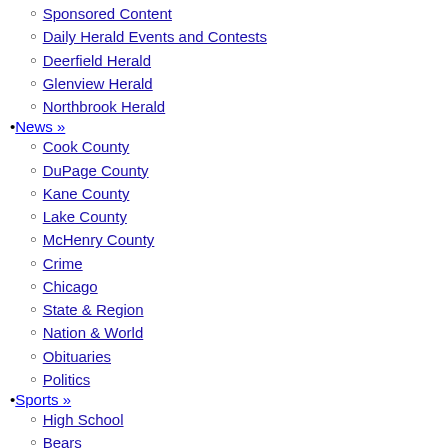Sponsored Content
Daily Herald Events and Contests
Deerfield Herald
Glenview Herald
Northbrook Herald
News »
Cook County
DuPage County
Kane County
Lake County
McHenry County
Crime
Chicago
State & Region
Nation & World
Obituaries
Politics
Sports »
High School
Bears
Blackhawks
Bulls
Cubs
White Sox
Horse Racing